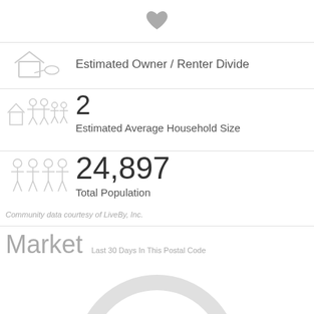[Figure (illustration): Heart icon at top center]
[Figure (illustration): House with family icon for Owner/Renter Divide section]
Estimated Owner / Renter Divide
[Figure (illustration): House with multiple people icon for Household Size section]
2
Estimated Average Household Size
[Figure (illustration): Group of people icon for Total Population section]
24,897
Total Population
Community data courtesy of LiveBy, Inc.
Market   Last 30 Days In This Postal Code
[Figure (donut-chart): Partial donut/gauge chart showing market data, purple arc segment on gray background ring, cropped at bottom]